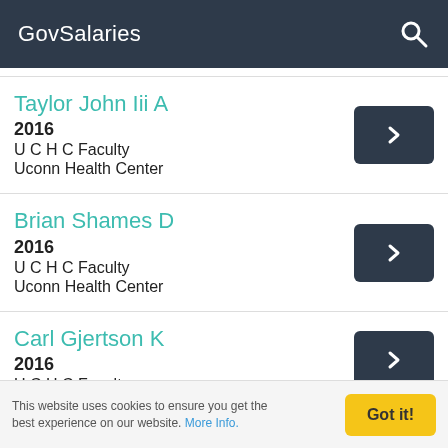GovSalaries
Taylor John Iii A | 2016 | U C H C Faculty | Uconn Health Center
Brian Shames D | 2016 | U C H C Faculty | Uconn Health Center
Carl Gjertson K | 2016 | U C H C Faculty
This website uses cookies to ensure you get the best experience on our website. More Info.